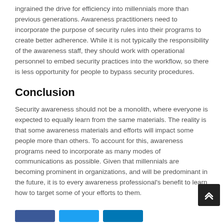ingrained the drive for efficiency into millennials more than previous generations. Awareness practitioners need to incorporate the purpose of security rules into their programs to create better adherence. While it is not typically the responsibility of the awareness staff, they should work with operational personnel to embed security practices into the workflow, so there is less opportunity for people to bypass security procedures.
Conclusion
Security awareness should not be a monolith, where everyone is expected to equally learn from the same materials. The reality is that some awareness materials and efforts will impact some people more than others. To account for this, awareness programs need to incorporate as many modes of communications as possible. Given that millennials are becoming prominent in organizations, and will be predominant in the future, it is to every awareness professional's benefit to learn how to target some of your efforts to them.